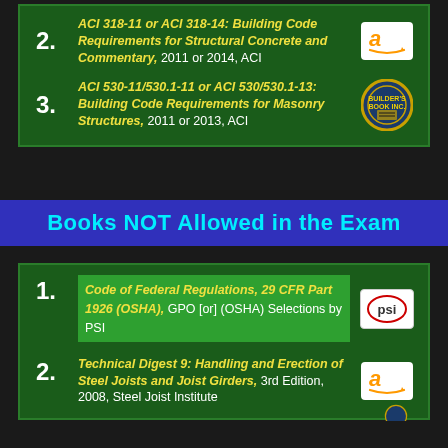2. ACI 318-11 or ACI 318-14: Building Code Requirements for Structural Concrete and Commentary, 2011 or 2014, ACI
3. ACI 530-11/530.1-11 or ACI 530/530.1-13: Building Code Requirements for Masonry Structures, 2011 or 2013, ACI
Books NOT Allowed in the Exam
1. Code of Federal Regulations, 29 CFR Part 1926 (OSHA), GPO [or] (OSHA) Selections by PSI
2. Technical Digest 9: Handling and Erection of Steel Joists and Joist Girders, 3rd Edition, 2008, Steel Joist Institute